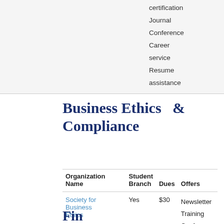certification
Journal
Conference
Career service
Resume assistance
Business Ethics  &  Compliance
| Organization Name | Student Branch | Dues | Offers |
| --- | --- | --- | --- |
| Society for Business Ethics | Yes | $30 | Newsletter
Training
Conference |
Financial Management